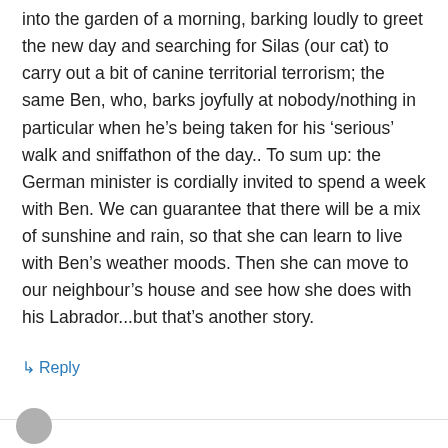into the garden of a morning, barking loudly to greet the new day and searching for Silas (our cat) to carry out a bit of canine territorial terrorism; the same Ben, who, barks joyfully at nobody/nothing in particular when he's being taken for his 'serious' walk and sniffathon of the day.. To sum up: the German minister is cordially invited to spend a week with Ben. We can guarantee that there will be a mix of sunshine and rain, so that she can learn to live with Ben's weather moods. Then she can move to our neighbour's house and see how she does with his Labrador...but that's another story.
↳ Reply